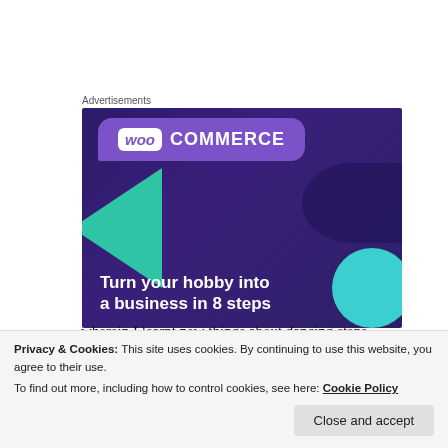[Figure (screenshot): WooCommerce advertisement banner with purple background showing WooCommerce logo and text 'Turn your hobby into a business in 8 steps']
PRASHANT
wherein I learnt new things about dancing steps
Privacy & Cookies: This site uses cookies. By continuing to use this website, you agree to their use.
To find out more, including how to control cookies, see here: Cookie Policy
Close and accept